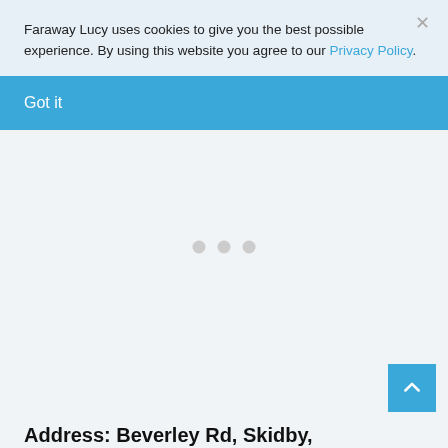Faraway Lucy uses cookies to give you the best possible experience. By using this website you agree to our Privacy Policy.
Got it
[Figure (other): Loading spinner area with three grey dots centered in a light blue-grey content area]
[Figure (other): Blue back-to-top button with upward chevron arrow in bottom right corner]
Address: Beverley Rd, Skidby,